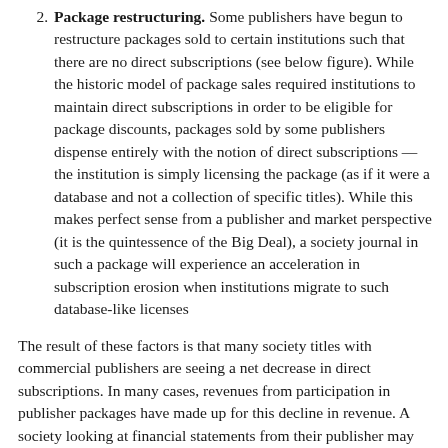Package restructuring. Some publishers have begun to restructure packages sold to certain institutions such that there are no direct subscriptions (see below figure). While the historic model of package sales required institutions to maintain direct subscriptions in order to be eligible for package discounts, packages sold by some publishers dispense entirely with the notion of direct subscriptions — the institution is simply licensing the package (as if it were a database and not a collection of specific titles). While this makes perfect sense from a publisher and market perspective (it is the quintessence of the Big Deal), a society journal in such a package will experience an acceleration in subscription erosion when institutions migrate to such database-like licenses
The result of these factors is that many society titles with commercial publishers are seeing a net decrease in direct subscriptions. In many cases, revenues from participation in publisher packages have made up for this decline in revenue. A society looking at financial statements from their publisher may